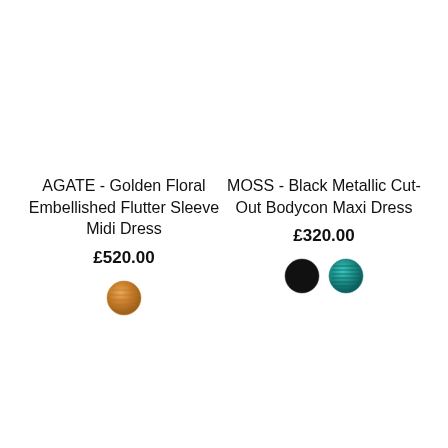AGATE - Golden Floral Embellished Flutter Sleeve Midi Dress
£520.00
[Figure (illustration): Golden/orange color swatch circle for AGATE dress]
MOSS - Black Metallic Cut-Out Bodycon Maxi Dress
£320.00
[Figure (illustration): Two color swatch circles for MOSS dress: black and teal/metallic]